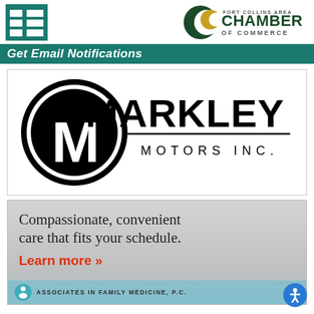[Figure (logo): Green grid/list menu icon in top-left corner]
[Figure (logo): Fort Collins Area Chamber of Commerce logo with crescent moon shapes in dark green and gold]
Get Email Notifications
[Figure (logo): Markley Motors Inc. logo with large M in circle and text MARKLEY MOTORS INC.]
[Figure (infographic): Associates in Family Medicine ad: Compassionate, convenient care that fits your schedule. Learn more »]
ASSOCIATES IN FAMILY MEDICINE, P.C.